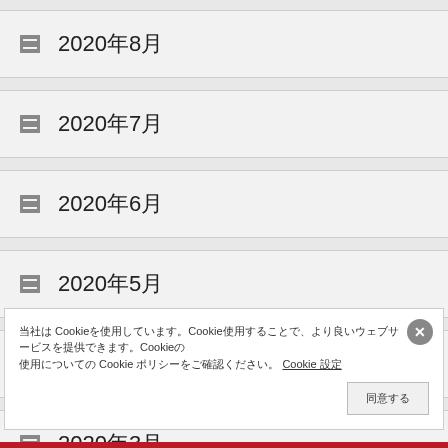2020年8月
2020年7月
2020年6月
2020年5月
2020年4月
2020年3月
2020年1月
当社はCookieを使用しています。Cookieの使用に同意いただくことで、より良いウェブサービスを提供できます。Cookieの使用についてはCookieポリシーをご確認ください。 Cookie 設定